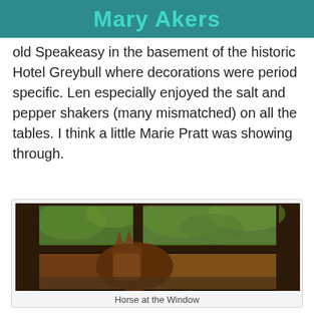Mary Akers
old Speakeasy in the basement of the historic Hotel Greybull where decorations were period specific. Len especially enjoyed the salt and pepper shakers (many mismatched) on all the tables. I think a little Marie Pratt was showing through.
[Figure (photo): A horse viewed from inside a barn or stable, looking through a multi-pane wooden window frame. Green trees are visible outside in the background.]
Horse at the Window